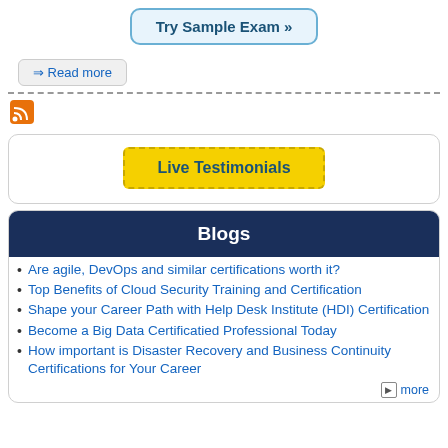[Figure (screenshot): Try Sample Exam button — light blue rounded rectangle with dark blue bold text]
⇒ Read more
[Figure (infographic): RSS orange icon]
Live Testimonials
Blogs
Are agile, DevOps and similar certifications worth it?
Top Benefits of Cloud Security Training and Certification
Shape your Career Path with Help Desk Institute (HDI) Certification
Become a Big Data Certificatied Professional Today
How important is Disaster Recovery and Business Continuity Certifications for Your Career
more